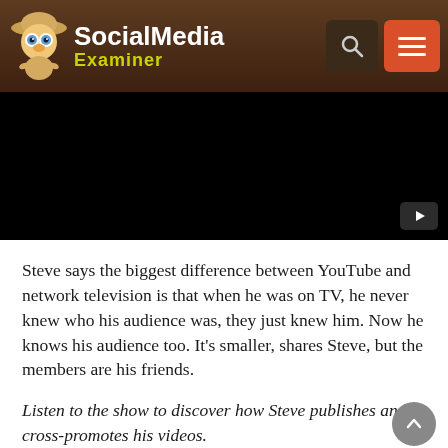Social Media Examiner
[Figure (screenshot): Black video player area with a YouTube play button icon in the bottom right corner]
Steve says the biggest difference between YouTube and network television is that when he was on TV, he never knew who his audience was, they just knew him. Now he knows his audience too. It’s smaller, shares Steve, but the members are his friends.
Listen to the show to discover how Steve publishes and cross-promotes his videos.